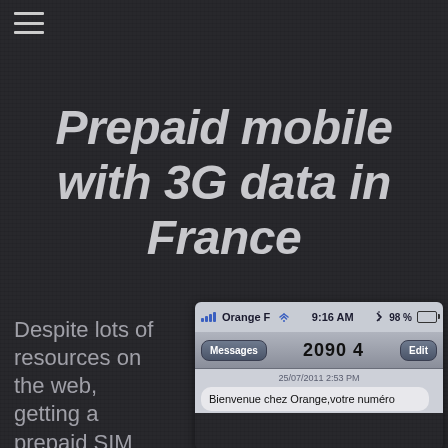[Figure (other): Hamburger menu icon (three horizontal lines) in top-left corner]
Prepaid mobile with 3G data in France
Despite lots of resources on the web, getting a prepaid SIM
[Figure (screenshot): iPhone screenshot showing Orange France carrier, 9:16 AM, 98% battery, Messages app with number 2090 4, dated 25/07/2011 2:53 PM, message bubble: Bienvenue chez Orange,votre numéro]